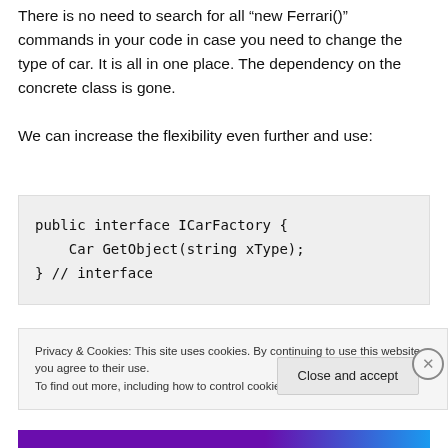There is no need to search for all “new Ferrari()” commands in your code in case you need to change the type of car. It is all in one place. The dependency on the concrete class is gone.
We can increase the flexibility even further and use:
public interface ICarFactory {
    Car GetObject(string xType);
} // interface
Privacy & Cookies: This site uses cookies. By continuing to use this website, you agree to their use.
To find out more, including how to control cookies, see here: Cookie Policy
Close and accept